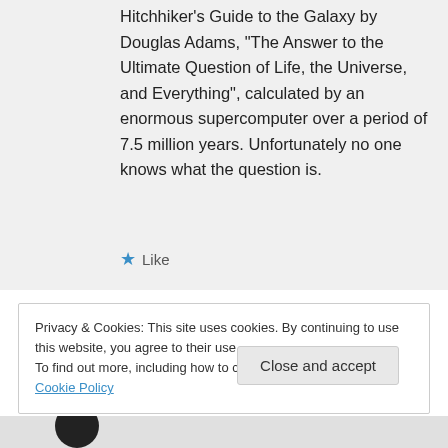Hitchhiker's Guide to the Galaxy by Douglas Adams, “The Answer to the Ultimate Question of Life, the Universe, and Everything”, calculated by an enormous supercomputer over a period of 7.5 million years. Unfortunately no one knows what the question is.
★ Like
Privacy & Cookies: This site uses cookies. By continuing to use this website, you agree to their use.
To find out more, including how to control cookies, see here: Cookie Policy
Close and accept